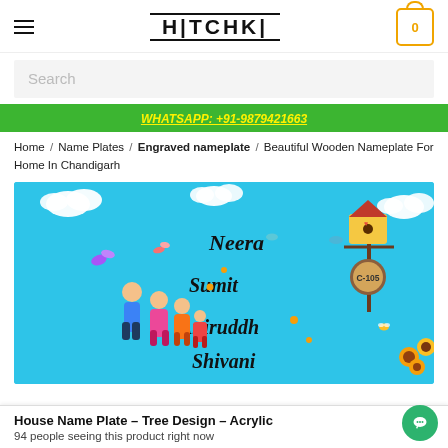HITCHKI
Search
WHATSAPP: +91-9879421663
Home / Name Plates / Engraved nameplate / Beautiful Wooden Nameplate For Home In Chandigarh
[Figure (photo): Blue decorative wooden nameplate featuring family figurines and names: Neera, Sumit, Aniruddh, Shivani, with house number C-105, birds, clouds, butterflies, and sunflowers.]
House Name Plate – Tree Design – Acrylic
94 people seeing this product right now